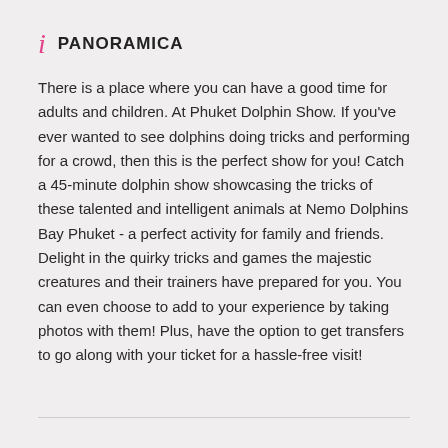PANORAMICA
There is a place where you can have a good time for adults and children. At Phuket Dolphin Show. If you've ever wanted to see dolphins doing tricks and performing for a crowd, then this is the perfect show for you! Catch a 45-minute dolphin show showcasing the tricks of these talented and intelligent animals at Nemo Dolphins Bay Phuket - a perfect activity for family and friends. Delight in the quirky tricks and games the majestic creatures and their trainers have prepared for you. You can even choose to add to your experience by taking photos with them! Plus, have the option to get transfers to go along with your ticket for a hassle-free visit!